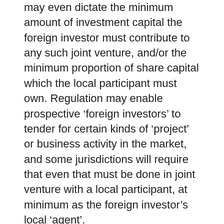may even dictate the minimum amount of investment capital the foreign investor must contribute to any such joint venture, and/or the minimum proportion of share capital which the local participant must own. Regulation may enable prospective ‘foreign investors’ to tender for certain kinds of ‘project’ or business activity in the market, and some jurisdictions will require that even that must be done in joint venture with a local participant, at minimum as the foreign investor’s local ‘agent’. As a consequence, the parties to that joint venture may decide to negotiate the terms of a collaboration or teaming agreement, or perhaps an agency contract, setting out the